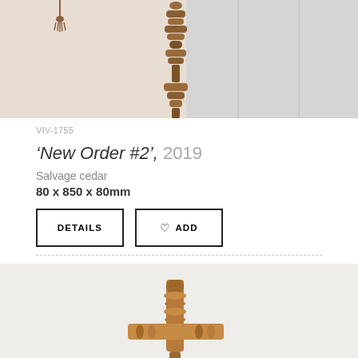[Figure (photo): Photograph of a tall stacked wooden sculpture made from salvage cedar, positioned against a white/beige background. Top portion of artwork listing.]
VIV-1755
'New Order #2', 2019
Salvage cedar
80 x 850 x 80mm
DETAILS
♡ ADD
[Figure (photo): Photograph of a wooden sculptural object resembling a cross or hammer shape made from salvage cedar, displayed against a light grey/white background.]